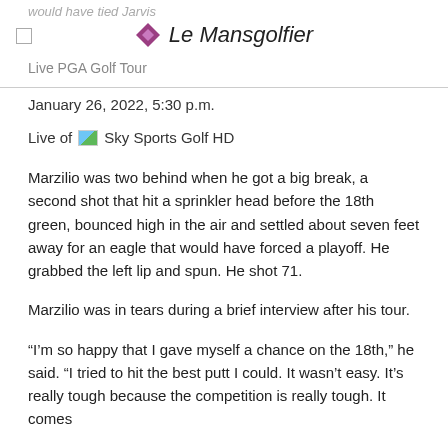would have tied Jarvis
□  Le Mansgolfier
Live PGA Golf Tour
January 26, 2022, 5:30 p.m.
Live of Sky Sports Golf HD
Marzilio was two behind when he got a big break, a second shot that hit a sprinkler head before the 18th green, bounced high in the air and settled about seven feet away for an eagle that would have forced a playoff. He grabbed the left lip and spun. He shot 71.
Marzilio was in tears during a brief interview after his tour.
“I’m so happy that I gave myself a chance on the 18th,” he said. “I tried to hit the best putt I could. It wasn’t easy. It’s really tough because the competition is really tough. It comes